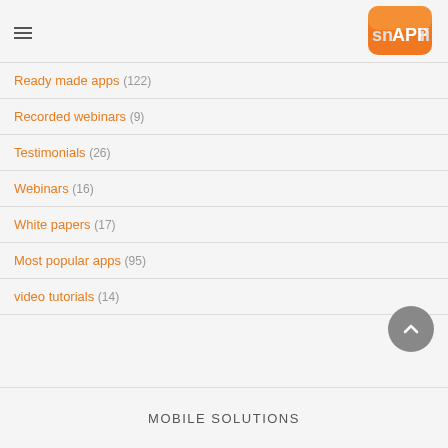[Figure (logo): Snappii logo: orange rounded square with Snappii text]
Ready made apps (122)
Recorded webinars (9)
Testimonials (26)
Webinars (16)
White papers (17)
Most popular apps (95)
video tutorials (14)
MOBILE SOLUTIONS